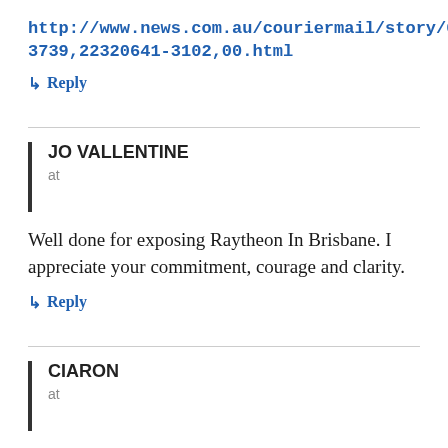http://www.news.com.au/couriermail/story/0,23739,22320641-3102,00.html
↳ Reply
JO VALLENTINE
at
Well done for exposing Raytheon In Brisbane. I appreciate your commitment, courage and clarity.
↳ Reply
CIARON
at
LINK: MayDay raid on General Dynamics Weapons